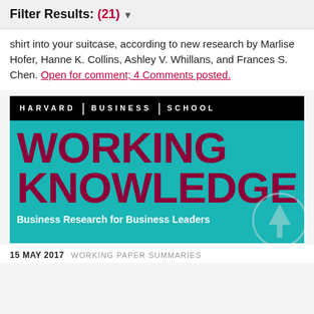Filter Results: (21) ▼
shirt into your suitcase, according to new research by Marlise Hofer, Hanne K. Collins, Ashley V. Whillans, and Frances S. Chen. Open for comment; 4 Comments posted.
[Figure (screenshot): Harvard Business School Working Knowledge website header image. Black top bar with 'HARVARD | BUSINESS | SCHOOL' text. Teal background with dark red large text 'WORKING KNOWLEDGE' and white subtitle 'Business Research for Business Leaders'. A scroll-up circle icon appears at bottom right.]
15 MAY 2017   WORKING PAPER SUMMARIES